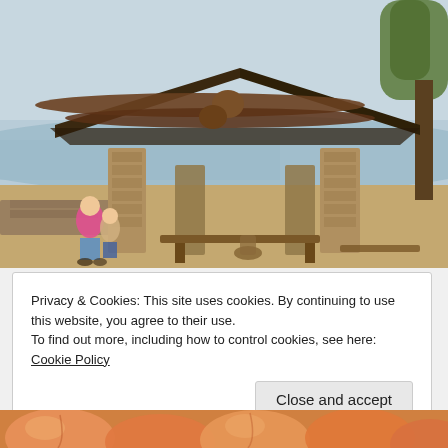[Figure (photo): Outdoor stone shelter/pavilion with wooden log roof beams on a hilltop overlook. Two people stand to the left near a stone wall looking out over a distant landscape. Trees visible in the background. Sandy ground with stone benches under the shelter.]
Privacy & Cookies: This site uses cookies. By continuing to use this website, you agree to their use.
To find out more, including how to control cookies, see here: Cookie Policy
Close and accept
[Figure (photo): Close-up of peaches or similar orange/red fruits, partially visible at the bottom of the page.]